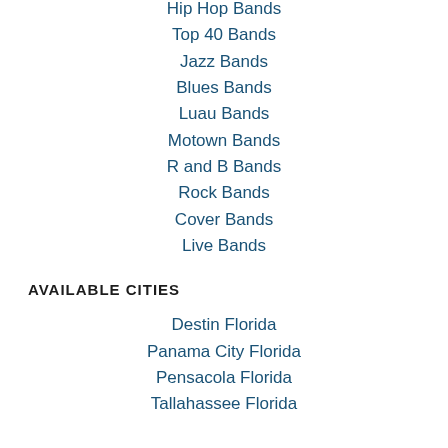Hip Hop Bands
Top 40 Bands
Jazz Bands
Blues Bands
Luau Bands
Motown Bands
R and B Bands
Rock Bands
Cover Bands
Live Bands
AVAILABLE CITIES
Destin Florida
Panama City Florida
Pensacola Florida
Tallahassee Florida